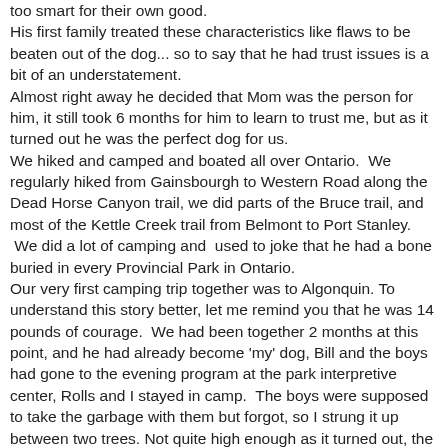too smart for their own good. His first family treated these characteristics like flaws to be beaten out of the dog... so to say that he had trust issues is a bit of an understatement. Almost right away he decided that Mom was the person for him, it still took 6 months for him to learn to trust me, but as it turned out he was the perfect dog for us. We hiked and camped and boated all over Ontario.  We regularly hiked from Gainsbourgh to Western Road along the Dead Horse Canyon trail, we did parts of the Bruce trail, and most of the Kettle Creek trail from Belmont to Port Stanley.  We did a lot of camping and  used to joke that he had a bone buried in every Provincial Park in Ontario. Our very first camping trip together was to Algonquin. To understand this story better, let me remind you that he was 14 pounds of courage.  We had been together 2 months at this point, and he had already become 'my' dog, Bill and the boys had gone to the evening program at the park interpretive center, Rolls and I stayed in camp.  The boys were supposed to take the garbage with them but forgot, so I strung it up between two trees. Not quite high enough as it turned out, the raccoons came, lots of raccoons.  They kept